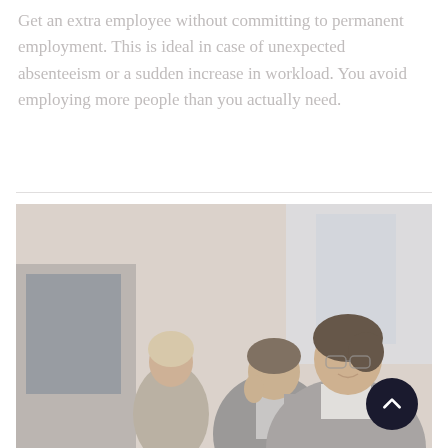Get an extra employee without committing to permanent employment. This is ideal in case of unexpected absenteeism or a sudden increase in workload. You avoid employing more people than you actually need.
[Figure (photo): Office scene with three business professionals: a woman with glasses smiling in the foreground, a man in a suit in the middle, and a woman in the background. A dark circular scroll-up button is overlaid in the bottom right of the image.]